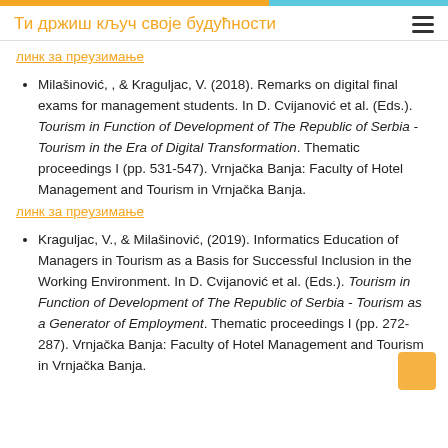Ти држиш кључ своје будућности
линк за преузимање
Milašinović, , & Kraguljac, V. (2018). Remarks on digital final exams for management students. In D. Cvijanović et al. (Eds.). Tourism in Function of Development of The Republic of Serbia - Tourism in the Era of Digital Transformation. Thematic proceedings I (pp. 531-547). Vrnjačka Banja: Faculty of Hotel Management and Tourism in Vrnjačka Banja.
линк за преузимање
Kraguljac, V., & Milašinović, (2019). Informatics Education of Managers in Tourism as a Basis for Successful Inclusion in the Working Environment. In D. Cvijanović et al. (Eds.). Tourism in Function of Development of The Republic of Serbia - Tourism as a Generator of Employment. Thematic proceedings I (pp. 272-287). Vrnjačka Banja: Faculty of Hotel Management and Tourism in Vrnjačka Banja.